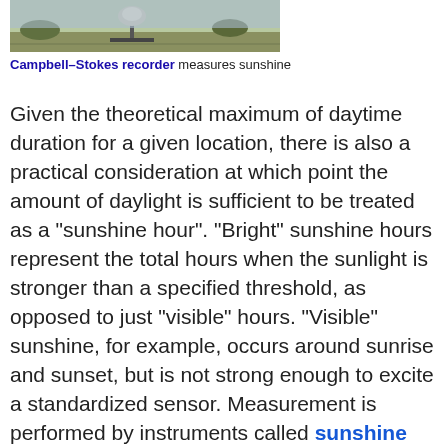[Figure (photo): Photograph of a Campbell-Stokes recorder instrument outdoors on a stand]
Campbell–Stokes recorder measures sunshine
Given the theoretical maximum of daytime duration for a given location, there is also a practical consideration at which point the amount of daylight is sufficient to be treated as a "sunshine hour". "Bright" sunshine hours represent the total hours when the sunlight is stronger than a specified threshold, as opposed to just "visible" hours. "Visible" sunshine, for example, occurs around sunrise and sunset, but is not strong enough to excite a standardized sensor. Measurement is performed by instruments called sunshine recorders. For the specific purpose of sunshine duration recording, Campbell–Stokes recorders are used, which use a spherical glass lens to focus the sun rays on a specially designed tape. When the intensity exceeds a pre-determined